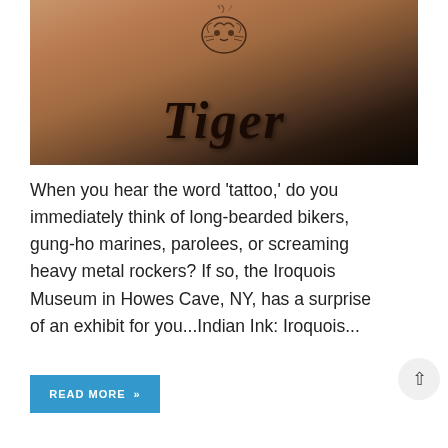[Figure (photo): Close-up photo of a tattoo on skin reading 'Tiger' in cursive script, with a tiger sketch above it. Warm brown skin tones with dark ink.]
When you hear the word 'tattoo,' do you immediately think of long-bearded bikers, gung-ho marines, parolees, or screaming heavy metal rockers? If so, the Iroquois Museum in Howes Cave, NY, has a surprise of an exhibit for you...Indian Ink: Iroquois...